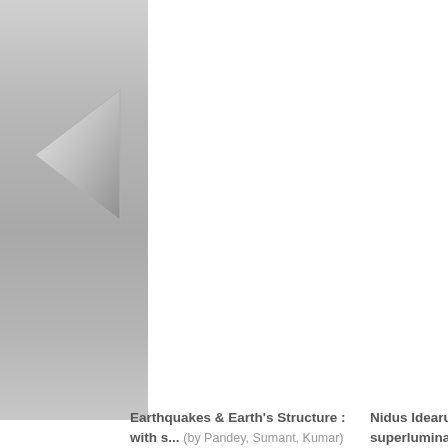[Figure (other): Gray navigation panel on the left side with a left-pointing triangular arrow button]
Earthquakes & Earth's Structure : with s... (by Pandey, Sumant, Kumar)
Nidus Idearum. Scilogs, VII: superlumina... (by Smarandache, Florentin)